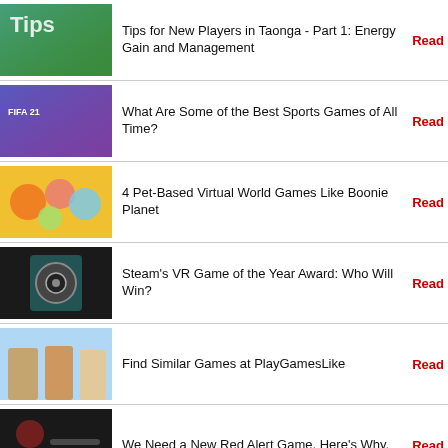Tips for New Players in Taonga - Part 1: Energy Gain and Management
What Are Some of the Best Sports Games of All Time?
4 Pet-Based Virtual World Games Like Boonie Planet
Steam's VR Game of the Year Award: Who Will Win?
Find Similar Games at PlayGamesLike
We Need a New Red Alert Game. Here's Why.
Is Marble Racing Considered a Sport?
Is Gacha Considered Gambling?